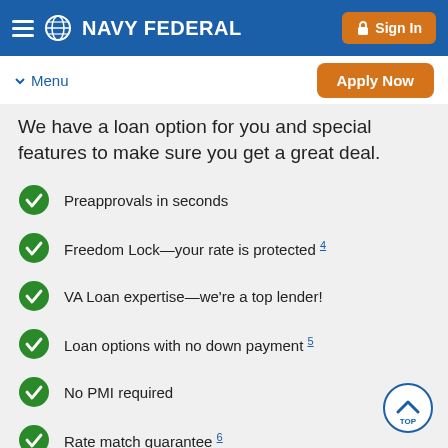NAVY FEDERAL | Sign In
Menu | Apply Now
We have a loan option for you and special features to make sure you get a great deal.
Preapprovals in seconds
Freedom Lock—your rate is protected 4
VA Loan expertise—we're a top lender!
Loan options with no down payment 5
No PMI required
Rate match guarantee 6